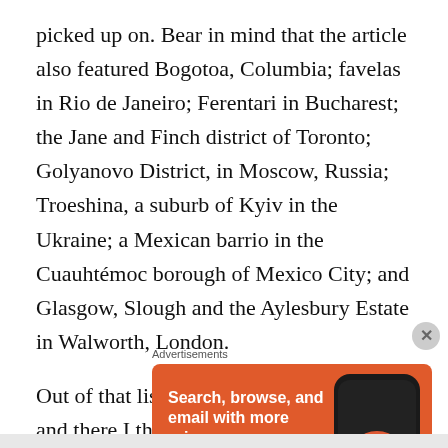picked up on. Bear in mind that the article also featured Bogotoa, Columbia; favelas in Rio de Janeiro; Ferentari in Bucharest; the Jane and Finch district of Toronto; Golyanovo District, in Moscow, Russia; Troeshina, a suburb of Kyiv in the Ukraine; a Mexican barrio in the Cuauhtémoc borough of Mexico City; and Glasgow, Slough and the Aylesbury Estate in Walworth, London.
Out of that list, I've only been to Slough and there I think I only went to Debenhams and a Wetherspoons pub, both fairly quickly, before getting robbed blind by a gypsy lady selling me heather, who told me I would wear a crown one...
Advertisements
[Figure (other): DuckDuckGo advertisement banner with orange background. Text reads 'Search, browse, and email with more privacy. All in One Free App' with a smartphone showing the DuckDuckGo logo.]